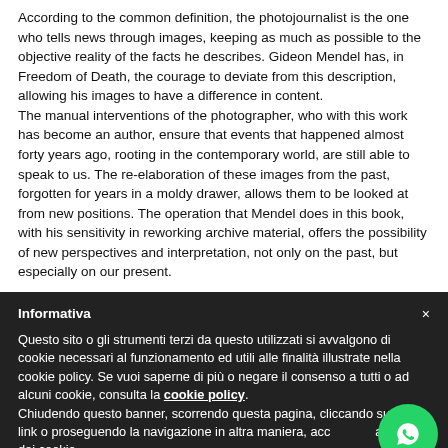According to the common definition, the photojournalist is the one who tells news through images, keeping as much as possible to the objective reality of the facts he describes. Gideon Mendel has, in Freedom of Death, the courage to deviate from this description, allowing his images to have a difference in content.
The manual interventions of the photographer, who with this work has become an author, ensure that events that happened almost forty years ago, rooting in the contemporary world, are still able to speak to us. The re-elaboration of these images from the past, forgotten for years in a moldy drawer, allows them to be looked at from new positions. The operation that Mendel does in this book, with his sensitivity in reworking archive material, offers the possibility of new perspectives and interpretation, not only on the past, but especially on our present.
Informativa
Questo sito o gli strumenti terzi da questo utilizzati si avvalgono di cookie necessari al funzionamento ed utili alle finalità illustrate nella cookie policy. Se vuoi saperne di più o negare il consenso a tutti o ad alcuni cookie, consulta la cookie policy. Chiudendo questo banner, scorrendo questa pagina, cliccando su un link o proseguendo la navigazione in altra maniera, acconsenti all'uso dei cookie.
[Figure (illustration): WhatsApp green circular chat button icon]